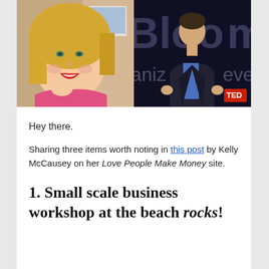[Figure (photo): Two side-by-side photos: left shows a smiling blonde woman in a pink top at a desk with a computer; right shows a man in a dark blazer and blue shirt speaking on a stage with 'Bloom' text visible in background.]
Hey there.
Sharing three items worth noting in this post by Kelly McCausey on her Love People Make Money site.
1. Small scale business workshop at the beach rocks!